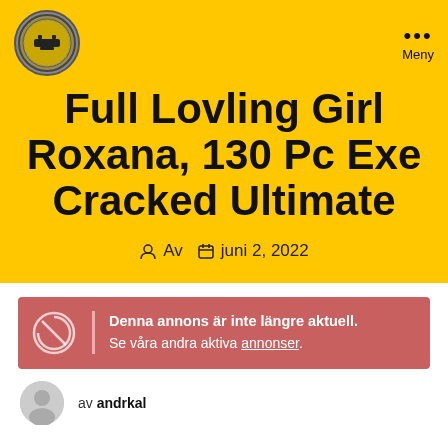[Figure (logo): Circular logo with dark border on yellow background]
Full Lovling Girl Roxana, 130 Pc Exe Cracked Ultimate
Av   juni 2, 2022
Denna annons är inte längre aktuell. Se våra andra aktiva annonser.
av andrkal